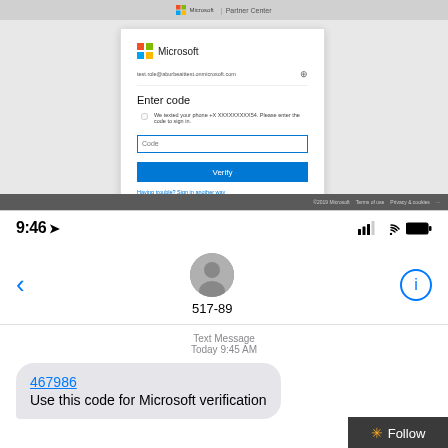[Figure (screenshot): Microsoft Partner Center browser screenshot showing a 'Enter code' MFA dialog. The dialog has the Microsoft logo, an email field (test.role@aburbeaittest.onmicrosoft.com), a message about texting phone +X XXXXXXXXX54, a code input field, a Verify button, and links for 'Having trouble? Sign in another way' and 'More information'.]
[Figure (screenshot): iPhone SMS screenshot showing a text message from short code 517-89 sent at 9:45 AM. The message contains a blue hyperlinked code '467986' followed by 'Use this code for Microsoft verification'. Phone status bar shows 9:46 time with signal bars, wifi, and battery icons. A 'Follow' button overlay appears in the bottom right corner.]